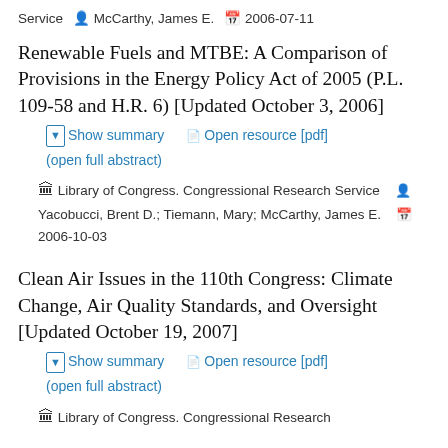Service  McCarthy, James E.  2006-07-11
Renewable Fuels and MTBE: A Comparison of Provisions in the Energy Policy Act of 2005 (P.L. 109-58 and H.R. 6) [Updated October 3, 2006]
Show summary  Open resource [pdf]  (open full abstract)
Library of Congress. Congressional Research Service  Yacobucci, Brent D.; Tiemann, Mary; McCarthy, James E.  2006-10-03
Clean Air Issues in the 110th Congress: Climate Change, Air Quality Standards, and Oversight [Updated October 19, 2007]
Show summary  Open resource [pdf]  (open full abstract)
Library of Congress. Congressional Research